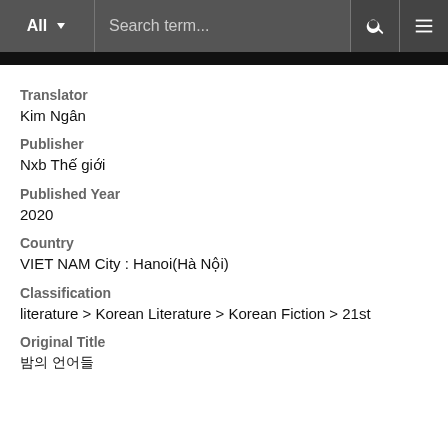All  Search term...
Translator
Kim Ngân
Publisher
Nxb Thế giới
Published Year
2020
Country
VIET NAM City : Hanoi(Hà Nội)
Classification
literature > Korean Literature > Korean Fiction > 21st
Original Title
밤의 언어들